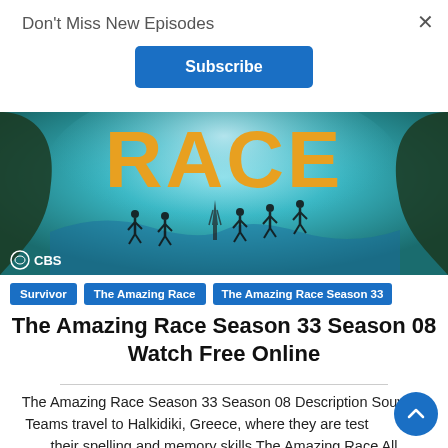Don't Miss New Episodes
×
Subscribe
[Figure (photo): The Amazing Race TV show hero image with large golden 'RACE' text, runners silhouetted inside a wave/tunnel, Eiffel Tower visible, CBS logo in lower left]
Survivor  The Amazing Race  The Amazing Race Season 33
The Amazing Race Season 33 Season 08 Watch Free Online
The Amazing Race Season 33 Season 08 Description Souvlaki Teams travel to Halkidiki, Greece, where they are tested on their spelling and memory skills The Amazing Race All